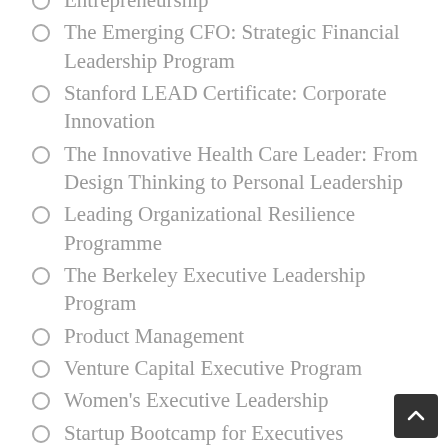Entrepreneurship
The Emerging CFO: Strategic Financial Leadership Program
Stanford LEAD Certificate: Corporate Innovation
The Innovative Health Care Leader: From Design Thinking to Personal Leadership
Leading Organizational Resilience Programme
The Berkeley Executive Leadership Program
Product Management
Venture Capital Executive Program
Women's Executive Leadership
Startup Bootcamp for Executives
Advanced Management Program
Performance through People
Leading Talent: Helping People Grow People
Performance through People